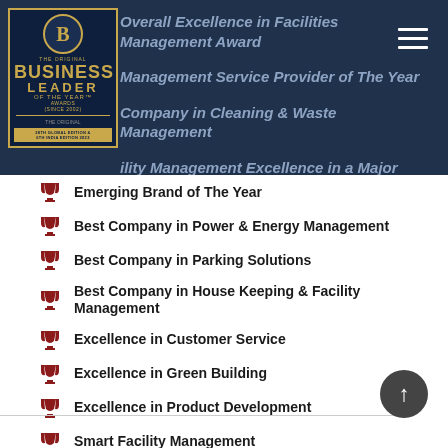[Figure (logo): Business Leader of the Year Awards logo with golden B emblem on dark navy background]
Overall Excellence in Facilities Management Award
Management Service Provider of The Year
Company in Cleaning & Waste Management
ility Management Excellence in a Major Project
Brand Of the Year – Facility Management
Emerging Brand of The Year
Best Company in Power & Energy Management
Best Company in Parking Solutions
Best Company in House Keeping & Facility Management
Excellence in Customer Service
Excellence in Green Building
Excellence in Product Development
Smart Facility Management